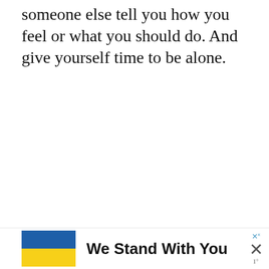someone else tell you how you feel or what you should do. And give yourself time to be alone.
[Figure (other): Advertisement placeholder box with 'ADVERTISEMENT' label and three loading dots]
[Figure (other): Banner ad with Ukrainian flag (blue and yellow), bold text 'We Stand With You', close buttons including a blue 'x' superscript, large X, and 'w' logo mark]